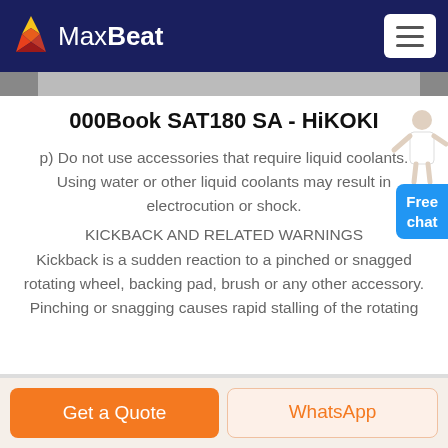MaxBeat
000Book SAT180 SA - HiKOKI
p) Do not use accessories that require liquid coolants. Using water or other liquid coolants may result in electrocution or shock.
KICKBACK AND RELATED WARNINGS
Kickback is a sudden reaction to a pinched or snagged rotating wheel, backing pad, brush or any other accessory. Pinching or snagging causes rapid stalling of the rotating
Get a Quote | WhatsApp